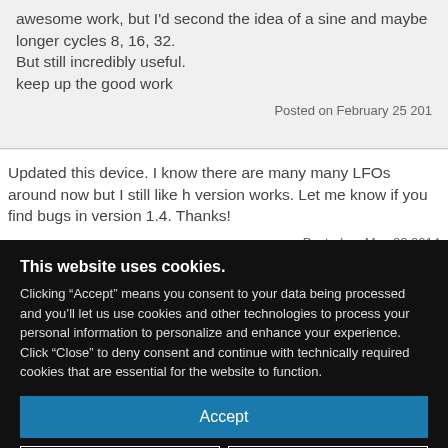awesome work, but I'd second the idea of a sine and maybe longer cycles 8, 16, 32. But still incredibly useful.
keep up the good work
Posted on February 25 201
Updated this device. I know there are many many LFOs around now but I still like h version works. Let me know if you find bugs in version 1.4. Thanks!
Posted on May 22 2014
This website uses cookies.
Clicking “Accept” means you consent to your data being processed and you’ll let us use cookies and other technologies to process your personal information to personalize and enhance your experience. Click “Close” to deny consent and continue with technically required cookies that are essential for the website to function.
Accept
Close
Privacy Policy